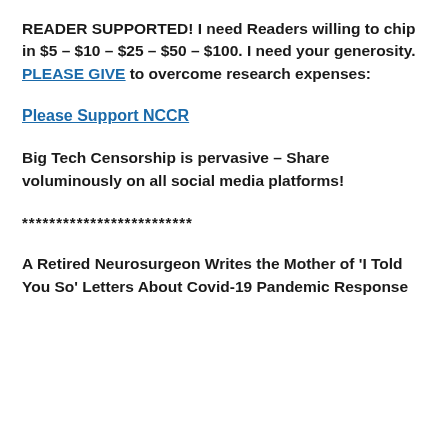READER SUPPORTED! I need Readers willing to chip in $5 – $10 – $25 – $50 – $100. I need your generosity. PLEASE GIVE to overcome research expenses:
Please Support NCCR
Big Tech Censorship is pervasive – Share voluminously on all social media platforms!
*************************
A Retired Neurosurgeon Writes the Mother of 'I Told You So' Letters About Covid-19 Pandemic Response